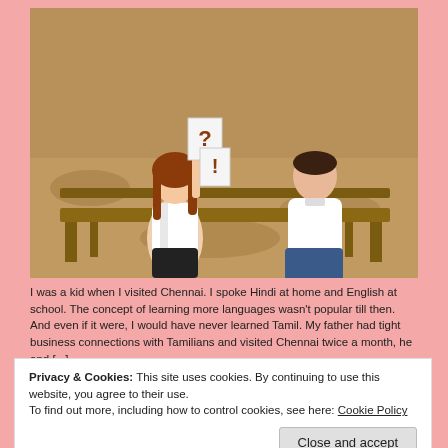[Figure (photo): A woman and a man sitting on a park bench. The woman holds up cards with question mark and exclamation mark symbols, appearing to be in a conversation or argument. Autumn leaves in background.]
I was a kid when I visited Chennai. I spoke Hindi at home and English at school. The concept of learning more languages wasn't popular till then. And even if it were, I would have never learned Tamil. My father had tight business connections with Tamilians and visited Chennai twice a month, he and [...]
Privacy & Cookies: This site uses cookies. By continuing to use this website, you agree to their use.
To find out more, including how to control cookies, see here: Cookie Policy
Close and accept
[Figure (photo): Bottom portion of another photo, partially visible, showing the top of a person's head.]